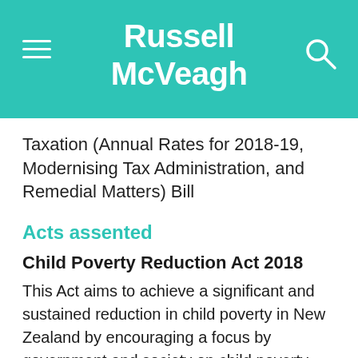Russell McVeagh
Taxation (Annual Rates for 2018-19, Modernising Tax Administration, and Remedial Matters) Bill
Acts assented
Child Poverty Reduction Act 2018
This Act aims to achieve a significant and sustained reduction in child poverty in New Zealand by encouraging a focus by government and society on child poverty reduction, facilitating political accountability against published targets and requiring transparent reporting on levels of child poverty.
The Act requires governments to set